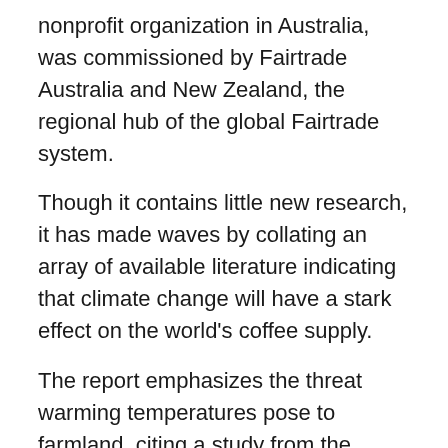nonprofit organization in Australia, was commissioned by Fairtrade Australia and New Zealand, the regional hub of the global Fairtrade system.
Though it contains little new research, it has made waves by collating an array of available literature indicating that climate change will have a stark effect on the world's coffee supply.
The report emphasizes the threat warming temperatures pose to farmland, citing a study from the March 2015 issue of the journal Climatic Change that found climate change “will reduce the global area suitable for coffee by about 50 percent across emission scenarios.”
…(read more).
E130, e140, e145,